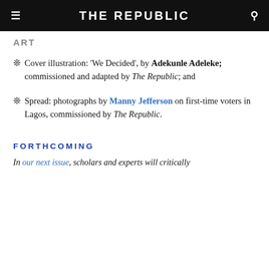THE REPUBLIC
ART
Cover illustration: 'We Decided', by Adekunle Adeleke; commissioned and adapted by The Republic; and
Spread: photographs by Manny Jefferson on first-time voters in Lagos, commissioned by The Republic.
FORTHCOMING
In our next issue, scholars and experts will critically